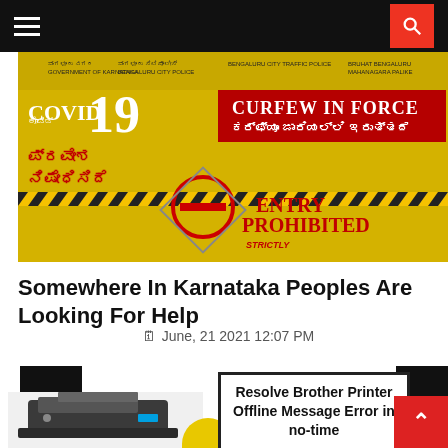Navigation bar with hamburger menu and search button
[Figure (photo): COVID-19 curfew banner in Kannada and English showing 'COVID 19', 'Curfew In Force', 'Entry Prohibited', with government of Karnataka logos]
Somewhere In Karnataka Peoples Are Looking For Help
June, 21 2021 12:07 PM
[Figure (photo): Brother printer device shown in lower left corner]
Resolve Brother Printer Offline Message Error in no-time